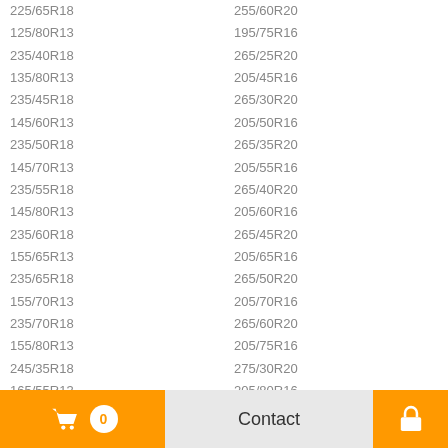225/65R18
255/60R20
125/80R13
195/75R16
235/40R18
265/25R20
135/80R13
205/45R16
235/45R18
265/30R20
145/60R13
205/50R16
235/50R18
265/35R20
145/70R13
205/55R16
235/55R18
265/40R20
145/80R13
205/60R16
235/60R18
265/45R20
155/65R13
205/65R16
235/65R18
265/50R20
155/70R13
205/70R16
235/70R18
265/60R20
155/80R13
205/75R16
245/35R18
275/30R20
165/55R13
205/80R16
245/40R18
275/35R20
165/65R13
215/40R16
245/45R18
275/40R20
165/70R13
215/45R16
245/50R18
275/45R20
165/80R13
215/55R16
245/60R18
0  Contact